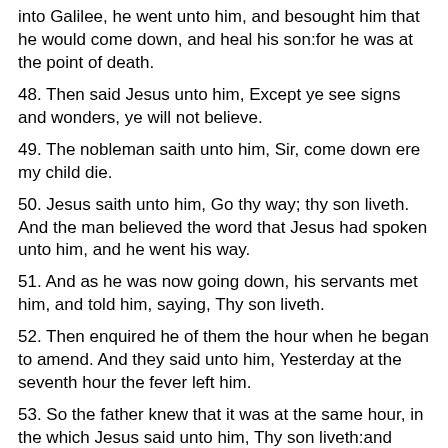into Galilee, he went unto him, and besought him that he would come down, and heal his son:for he was at the point of death.
48. Then said Jesus unto him, Except ye see signs and wonders, ye will not believe.
49. The nobleman saith unto him, Sir, come down ere my child die.
50. Jesus saith unto him, Go thy way; thy son liveth. And the man believed the word that Jesus had spoken unto him, and he went his way.
51. And as he was now going down, his servants met him, and told him, saying, Thy son liveth.
52. Then enquired he of them the hour when he began to amend. And they said unto him, Yesterday at the seventh hour the fever left him.
53. So the father knew that it was at the same hour, in the which Jesus said unto him, Thy son liveth:and himself believed, and his whole house.
54. This is again the second miracle that Jesus did, when he was come out of Judaea into Galilee.
John : John Chapter 5